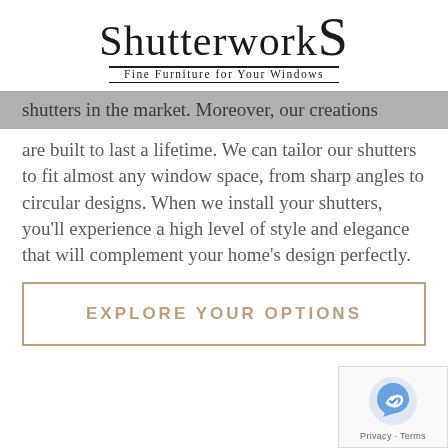ShutterworkS Fine Furniture for Your Windows
shutters in the market. Moreover, our creations are built to last a lifetime. We can tailor our shutters to fit almost any window space, from sharp angles to circular designs. When we install your shutters, you'll experience a high level of style and elegance that will complement your home's design perfectly.
EXPLORE YOUR OPTIONS